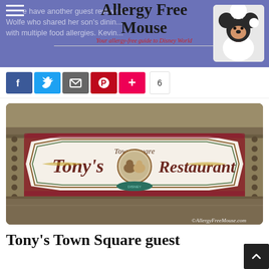Allergy Free Mouse – Your allergy-free guide to Disney World
We have another guest review fro... Wolfe who shared her son's dining experience with multiple food allergies. Kevin...
[Figure (screenshot): Social share buttons: Facebook, Twitter, Email, Pinterest, Plus, count 6]
[Figure (photo): Tony's Town Square Restaurant sign at Disney World Magic Kingdom, ornate white and brown decorative sign with script lettering. Copyright AllergyFreeMouse.com]
Tony's Town Square guest